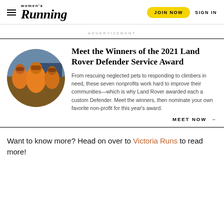Women's Running — JOIN NOW  SIGN IN
ADVERTISEMENT
Meet the Winners of the 2021 Land Rover Defender Service Award
[Figure (photo): Circular photo of people wearing orange jackets outdoors, likely a mountain rescue team]
From rescuing neglected pets to responding to climbers in need, these seven nonprofits work hard to improve their communities—which is why Land Rover awarded each a custom Defender. Meet the winners, then nominate your own favorite non-profit for this year's award.
MEET NOW →
Want to know more? Head on over to Victoria Runs to read more!